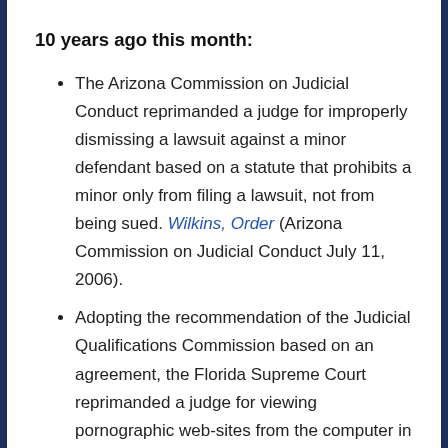10 years ago this month:
The Arizona Commission on Judicial Conduct reprimanded a judge for improperly dismissing a lawsuit against a minor defendant based on a statute that prohibits a minor only from filing a lawsuit, not from being sued. Wilkins, Order (Arizona Commission on Judicial Conduct July 11, 2006).
Adopting the recommendation of the Judicial Qualifications Commission based on an agreement, the Florida Supreme Court reprimanded a judge for viewing pornographic web-sites from the computer in his chambers; the Court also ordered